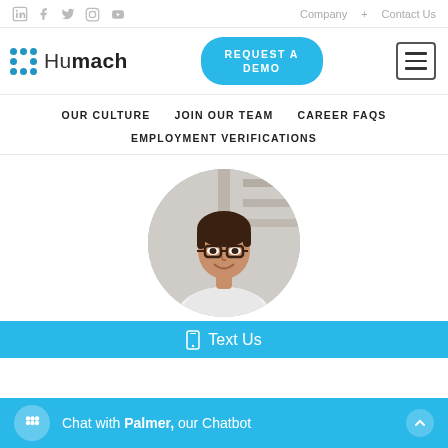Social icons | Company + | Contact Us
[Figure (logo): Humach logo with blue dot grid and REQUEST A DEMO button and hamburger menu]
OUR CULTURE   JOIN OUR TEAM   CAREER FAQS
EMPLOYMENT VERIFICATIONS
[Figure (photo): Circular portrait photo of a smiling woman with glasses in an office environment]
📱 Text Us
Chat with Palmer, our Chatbot